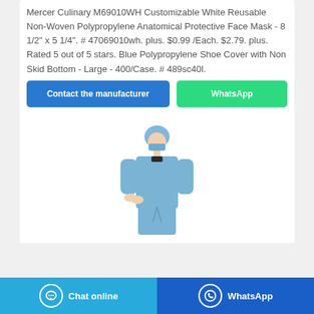Mercer Culinary M69010WH Customizable White Reusable Non-Woven Polypropylene Anatomical Protective Face Mask - 8 1/2" x 5 1/4". # 47069010wh. plus. $0.99 /Each. $2.79. plus. Rated 5 out of 5 stars. Blue Polypropylene Shoe Cover with Non Skid Bottom - Large - 400/Case. # 489sc40l.
[Figure (other): Two buttons: 'Contact the manufacturer' (blue) and 'WhatsApp' (green)]
[Figure (photo): Person wearing blue medical isolation gown, blue surgical mask and blue hair cover, standing facing forward with hands clasped.]
[Figure (other): Bottom bar with 'Chat online' button (light blue with chat bubble icon) and 'WhatsApp' button (dark blue with WhatsApp icon)]